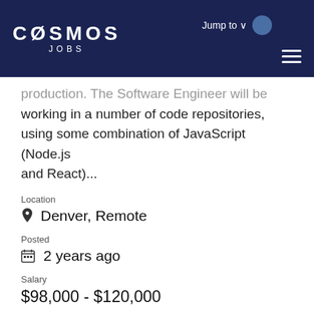COSMOS JOBS
production. The Software Engineer will be working in a number of code repositories, using some combination of JavaScript (Node.js and React)...
Location
📍 Denver, Remote
Posted
🗓 2 years ago
Salary
$98,000 - $120,000
Full Time